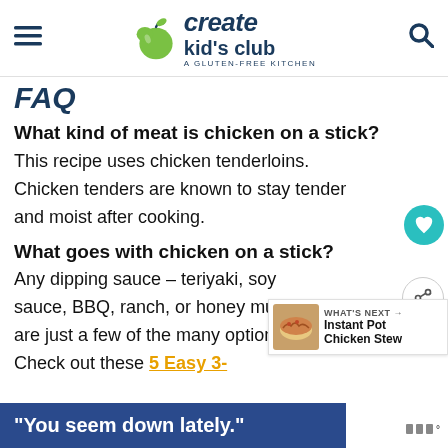create kid's club – A GLUTEN-FREE KITCHEN
FAQ
What kind of meat is chicken on a stick?
This recipe uses chicken tenderloins. Chicken tenders are known to stay tender and moist after cooking.
What goes with chicken on a stick?
Any dipping sauce – teriyaki, soy sauce, BBQ, ranch, or honey mustard are just a few of the many options. Check out these 5 Easy 3- Ingredient...
[Figure (other): Advertisement banner: "You seem down lately." on blue background]
[Figure (other): What's Next panel: Instant Pot Chicken Stew with bowl image]